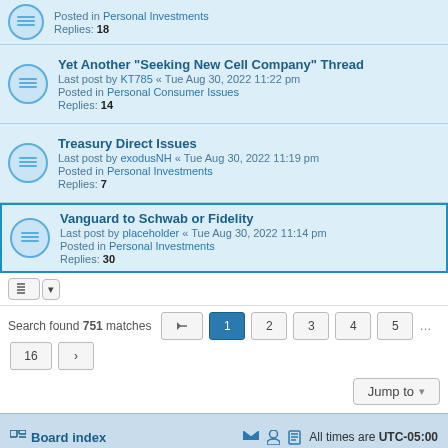Posted in Personal Investments
Replies: 18
Yet Another "Seeking New Cell Company" Thread
Last post by KT785 « Tue Aug 30, 2022 11:22 pm
Posted in Personal Consumer Issues
Replies: 14
Treasury Direct Issues
Last post by exodusNH « Tue Aug 30, 2022 11:19 pm
Posted in Personal Investments
Replies: 7
Vanguard to Schwab or Fidelity
Last post by placeholder « Tue Aug 30, 2022 11:14 pm
Posted in Personal Investments
Replies: 30
Search found 751 matches
Jump to
Board index   All times are UTC-05:00
No guarantees are made as to the accuracy of the information on this site or the appropriateness of any advice to your particular situation.
Powered by phpBB® Forum Software © phpBB Limited
Privacy | Terms
Time: 0.274s | Peak Memory Usage: 9.77 MiB | GZIP: Off